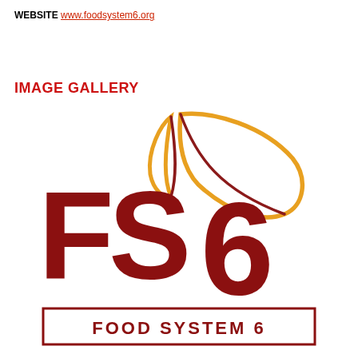WEBSITE www.foodsystem6.org
IMAGE GALLERY
[Figure (logo): Food System 6 logo: large dark red letters FS6 with golden/orange leaf shapes above, and a rectangular border at the bottom containing the text FOOD SYSTEM 6]